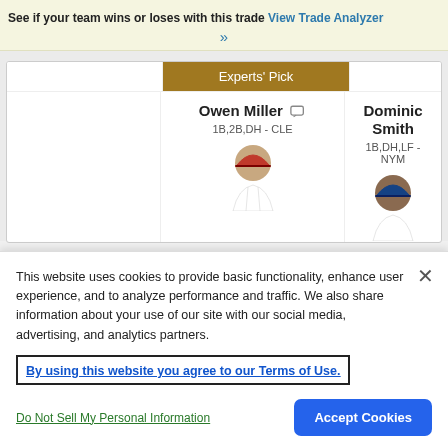See if your team wins or loses with this trade View Trade Analyzer »
[Figure (screenshot): Trade comparison card showing Experts' Pick header, players Owen Miller (1B,2B,DH - CLE) and Dominic Smith (1B,DH,LF - NYM) with player headshots]
This website uses cookies to provide basic functionality, enhance user experience, and to analyze performance and traffic. We also share information about your use of our site with our social media, advertising, and analytics partners.
By using this website you agree to our Terms of Use.
Do Not Sell My Personal Information
Accept Cookies